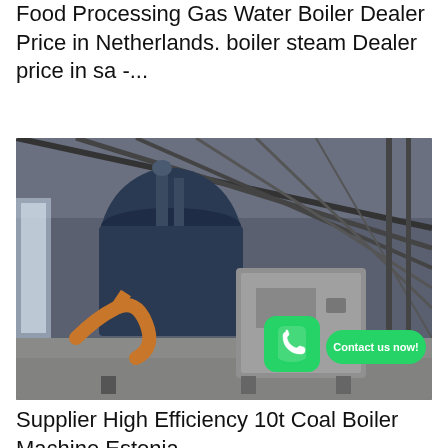Food Processing Gas Water Boiler Dealer Price in Netherlands. boiler steam Dealer price in sa -...
Get Price
[Figure (photo): Industrial gas water boiler inside a large warehouse/factory. A large dark blue cylindrical boiler is visible on the left with orange pipes, and a grey rectangular unit is on the right. Steel roof structure visible overhead. WhatsApp icon and 'Contact us now!' button overlaid in bottom right.]
Supplier High Efficiency 10t Coal Boiler Machine Estonia